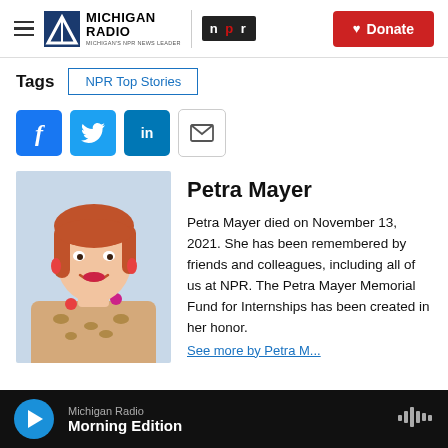Michigan Radio | NPR | Donate
Tags  NPR Top Stories
[Figure (infographic): Social share buttons: Facebook, Twitter, LinkedIn, Email]
[Figure (photo): Headshot of Petra Mayer, a woman with red/auburn hair and a colorful floral necklace over a leopard print top]
Petra Mayer
Petra Mayer died on November 13, 2021. She has been remembered by friends and colleagues, including all of us at NPR. The Petra Mayer Memorial Fund for Internships has been created in her honor.
Michigan Radio  Morning Edition